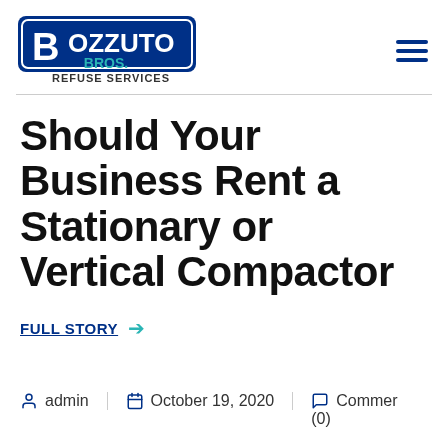Bozzuto Bros. Refuse Services
Should Your Business Rent a Stationary or Vertical Compactor
FULL STORY →
admin | October 19, 2020 | Commer (0)